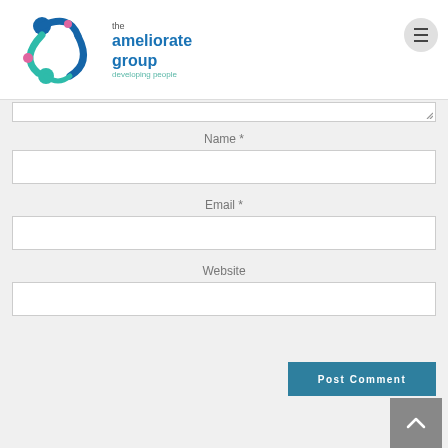[Figure (logo): The Ameliorate Group logo with circular connected figures icon and text 'the ameliorate group developing people']
Name *
Email *
Website
Post Comment